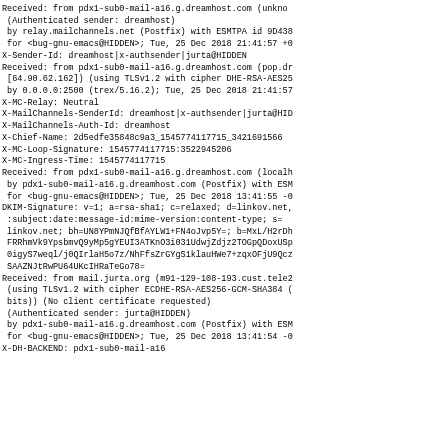Received: from pdx1-sub0-mail-a16.g.dreamhost.com (unkno
 (Authenticated sender: dreamhost)
 by relay.mailchannels.net (Postfix) with ESMTPA id 9D438
 for <bug-gnu-emacs@HIDDEN>; Tue, 25 Dec 2018 21:41:57 +0
X-Sender-Id: dreamhost|x-authsender|jurta@HIDDEN
Received: from pdx1-sub0-mail-a16.g.dreamhost.com (pop.dr
 [64.90.62.162]) (using TLSv1.2 with cipher DHE-RSA-AES25
 by 0.0.0.0:2500 (trex/5.16.2); Tue, 25 Dec 2018 21:41:57
X-MC-Relay: Neutral
X-MailChannels-SenderId: dreamhost|x-authsender|jurta@HID
X-MailChannels-Auth-Id: dreamhost
X-Chief-Name: 2d5edfe35848c9a3_1545774117715_3421691566
X-MC-Loop-Signature: 1545774117715:3522945206
X-MC-Ingress-Time: 1545774117715
Received: from pdx1-sub0-mail-a16.g.dreamhost.com (localh
 by pdx1-sub0-mail-a16.g.dreamhost.com (Postfix) with ESM
 for <bug-gnu-emacs@HIDDEN>; Tue, 25 Dec 2018 13:41:55 -0
DKIM-Signature: v=1; a=rsa-sha1; c=relaxed; d=linkov.net,
 :subject:date:message-id:mime-version:content-type; s=
 linkov.net; bh=UN8YPmNJQfBfAYLW1+FN4oJvp5Y=; b=MxL/H2rDh
 FRRhmVk9YpsbmvQ9yMp5gYEUI3ATKnO3i031UdwjZdjz2TOGpQDoxUSp
 0igyS7weql/j0QIrlaH5o7z/NhFfsZrGYgS1klauHWe7+zqxOFjU9Qcz
 SAAZNJtRwPU64UKcIHRaTeGo78=
Received: from mail.jurta.org (m91-129-108-193.cust.tele2
 (using TLSv1.2 with cipher ECDHE-RSA-AES256-GCM-SHA384 (
 bits)) (No client certificate requested)
 (Authenticated sender: jurta@HIDDEN)
 by pdx1-sub0-mail-a16.g.dreamhost.com (Postfix) with ESM
 for <bug-gnu-emacs@HIDDEN>; Tue, 25 Dec 2018 13:41:54 -0
X-DH-BACKEND: pdx1-sub0-mail-a16